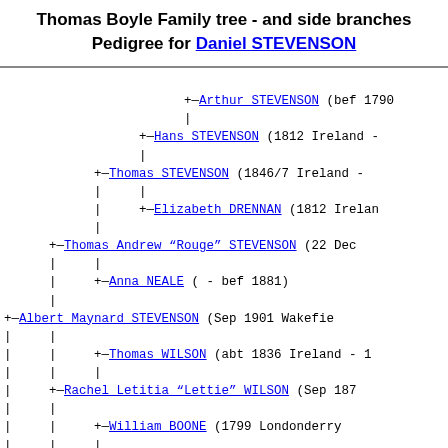Thomas Boyle Family tree - and side branches
Pedigree for Daniel STEVENSON
[Figure (other): Genealogical pedigree tree showing ancestors of Daniel STEVENSON including Arthur STEVENSON (bef 1790), Hans STEVENSON (1812 Ireland -), Thomas STEVENSON (1846/7 Ireland -), Elizabeth DRENNAN (1812 Ireland), Thomas Andrew "Rouge" STEVENSON (22 Dec), Anna NEALE ( - bef 1881), Albert Maynard STEVENSON (Sep 1901 Wakefield), Thomas WILSON (abt 1836 Ireland -), Rachel Letitia "Lettie" WILSON (Sep 187), William BOONE (1799 Londonderry), Rachel BOONE (1838 Cantley, Quebec)]